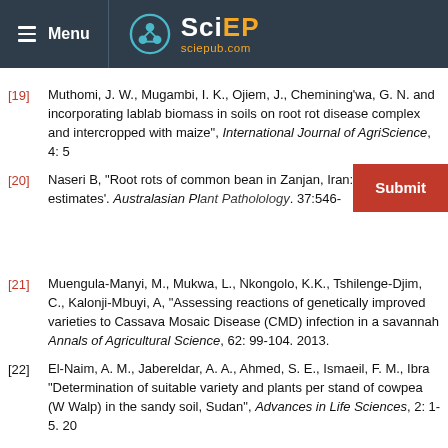Menu | SciEP sciepub.com
[19] Muthomi, J. W., Mugambi, I. K., Ojiem, J., Chemining'wa, G. N. and incorporating lablab biomass in soils on root rot disease complex and intercropped with maize", International Journal of AgriScience, 4: 5
[20] Naseri B, "Root rots of common bean in Zanjan, Iran: major pathoge estimates'. Australasian Plant Patholology. 37:546-
[21] Muengula-Manyi, M., Mukwa, L., Nkongolo, K.K., Tshilenge-Djim, C., Kalonji-Mbuyi, A, "Assessing reactions of genetically improved varieties to Cassava Mosaic Disease (CMD) infection in a savannah Annals of Agricultural Science, 62: 99-104. 2013.
[22] El-Naim, A. M., Jabereldar, A. A., Ahmed, S. E., Ismaeil, F. M., Ibra "Determination of suitable variety and plants per stand of cowpea (W Walp) in the sandy soil, Sudan", Advances in Life Sciences, 2: 1-5. 20
[23] Mwangi, S.N., Deng, A.L. and Kamau, A.W, "Response of Kenyan v